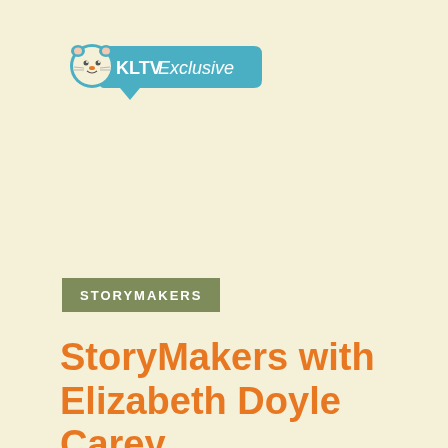[Figure (logo): KLTV Exclusive badge with cartoon animal mascot on teal/blue rounded banner shape]
STORYMAKERS
StoryMakers with Elizabeth Doyle Carey